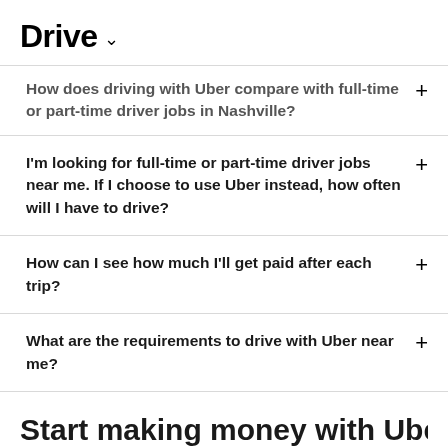Drive
How does driving with Uber compare with full-time or part-time driver jobs in Nashville?
I'm looking for full-time or part-time driver jobs near me. If I choose to use Uber instead, how often will I have to drive?
How can I see how much I'll get paid after each trip?
What are the requirements to drive with Uber near me?
Start making money with Uber